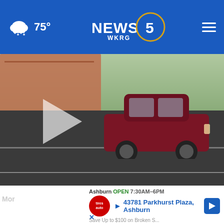75° NEWS 5 WKRG
[Figure (screenshot): Video thumbnail showing a red SUV driving through a school parking lot/road intersection with a brick building in the background. A large play button triangle is overlaid on the left side.]
[Figure (screenshot): Card thumbnail: Cassville School District building with a play button overlay. Title: Cassville School District returning "corporal... 2 days ago]
[Figure (screenshot): Card thumbnail: Aerial or water view with a boat/yacht partially visible and a play button overlay. Title: Crews, passengers rescued before yacht... 23 hours ago]
[Figure (screenshot): Partial card thumbnail (clipped): Christ Gray/W...]
[Figure (screenshot): Advertisement banner: Ashburn OPEN 7:30AM-6PM | 43781 Parkhurst Plaza, Ashburn | Tire Auto logo | navigation arrow icon. Save Up to $100 on Broken S...]